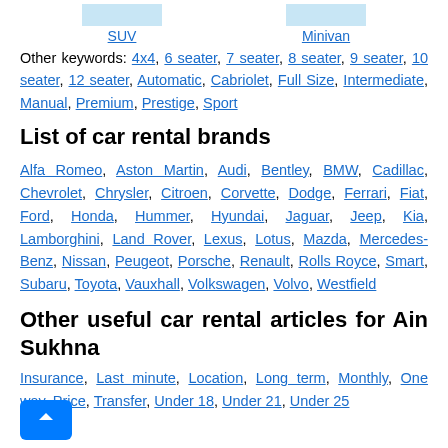SUV    Minivan
Other keywords: 4x4, 6 seater, 7 seater, 8 seater, 9 seater, 10 seater, 12 seater, Automatic, Cabriolet, Full Size, Intermediate, Manual, Premium, Prestige, Sport
List of car rental brands
Alfa Romeo, Aston Martin, Audi, Bentley, BMW, Cadillac, Chevrolet, Chrysler, Citroen, Corvette, Dodge, Ferrari, Fiat, Ford, Honda, Hummer, Hyundai, Jaguar, Jeep, Kia, Lamborghini, Land Rover, Lexus, Lotus, Mazda, Mercedes-Benz, Nissan, Peugeot, Porsche, Renault, Rolls Royce, Smart, Subaru, Toyota, Vauxhall, Volkswagen, Volvo, Westfield
Other useful car rental articles for Ain Sukhna
Insurance, Last minute, Location, Long term, Monthly, One way, Price, Transfer, Under 18, Under 21, Under 25